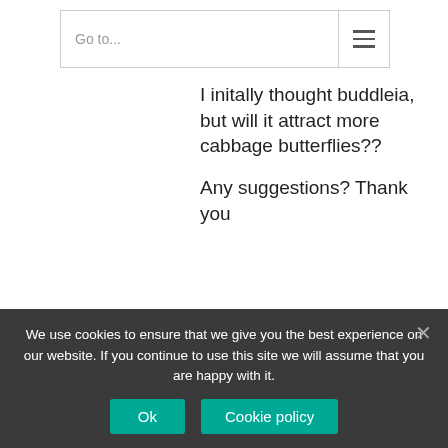Go to...
I initally thought buddleia, but will it attract more cabbage butterflies??

Any suggestions? Thank you
[Figure (illustration): Grey placeholder avatar silhouette]
Will  August 22, 2018 at 12:56 pm  - Reply

Hi Wendy,
Thanks for your comment.
Buddleias are great for growing quick, effective and beautiful cover, so I would definitely
We use cookies to ensure that we give you the best experience on our website. If you continue to use this site we will assume that you are happy with it.